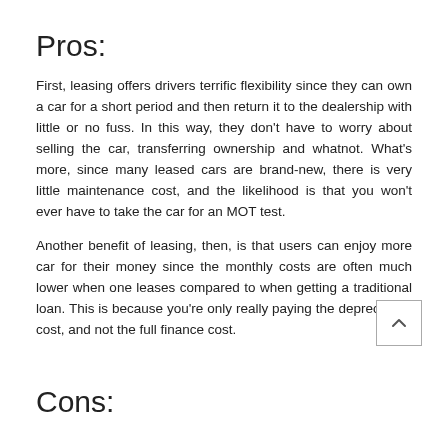Pros:
First, leasing offers drivers terrific flexibility since they can own a car for a short period and then return it to the dealership with little or no fuss. In this way, they don't have to worry about selling the car, transferring ownership and whatnot. What's more, since many leased cars are brand-new, there is very little maintenance cost, and the likelihood is that you won't ever have to take the car for an MOT test.
Another benefit of leasing, then, is that users can enjoy more car for their money since the monthly costs are often much lower when one leases compared to when getting a traditional loan. This is because you're only really paying the depreciation cost, and not the full finance cost.
Cons: